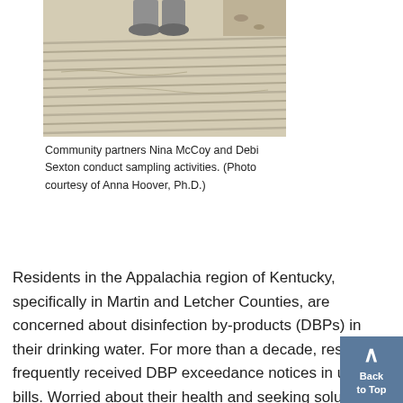[Figure (photo): A person's feet and lower legs visible at top, standing on a ridged concrete or stone surface, with some debris visible in the background. The surface appears to be a textured walkway or sampling site.]
Community partners Nina McCoy and Debi Sexton conduct sampling activities. (Photo courtesy of Anna Hoover, Ph.D.)
Residents in the Appalachia region of Kentucky, specifically in Martin and Letcher Counties, are concerned about disinfection by-products (DBPs) in their drinking water. For more than a decade, residents frequently received DBP exceedance notices in utility bills. Worried about their health and seeking solutions, community members reached out to partner with University of Kentucky scientists who study environmental health.